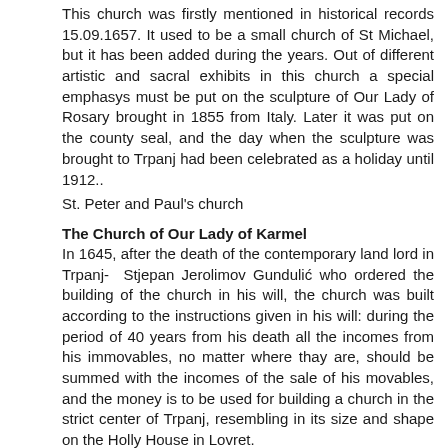This church was firstly mentioned in historical records 15.09.1657. It used to be a small church of St Michael, but it has been added during the years. Out of different artistic and sacral exhibits in this church a special emphasys must be put on the sculpture of Our Lady of Rosary brought in 1855 from Italy. Later it was put on the county seal, and the day when the sculpture was brought to Trpanj had been celebrated as a holiday until 1912..
St. Peter and Paul's church
The Church of Our Lady of Karmel
In 1645, after the death of the contemporary land lord in Trpanj- Stjepan Jerolimov Gundulić who ordered the building of the church in his will, the church was built according to the instructions given in his will: during the period of 40 years from his death all the incomes from his immovables, no matter where thay are, should be summed with the incomes of the sale of his movables, and the money is to be used for building a church in the strict center of Trpanj, resembling in its size and shape on the Holly House in Lovret.
During its long history some parts of it have been replaced or added. It is interesting that after Pope's approval in 1632 to celebrate "the transfer of the Holly House" from 1632. On the day of transfer the holiday is